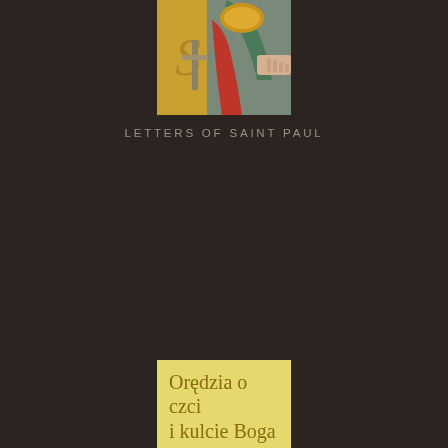[Figure (illustration): Top portion of a book cover showing a painting of Saint Paul with gold armor, red and green robes, holding a sword, against a golden background — Letters of Saint Paul]
LETTERS OF SAINT PAUL
[Figure (illustration): Bottom book cover with yellow band showing Polish title 'Orędzia o czci i kulcie Boga' and an ornate baroque church interior with monstrance, angels, and gilded architectural details]
Orędzia o czci i kulcie Boga